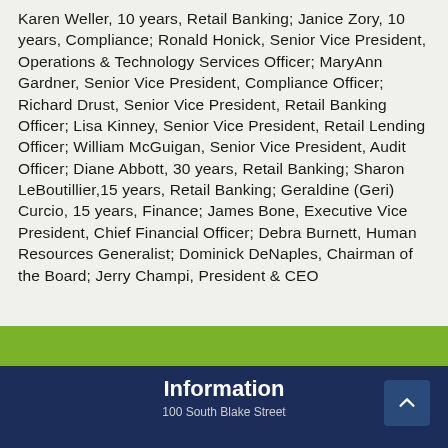Karen Weller, 10 years, Retail Banking; Janice Zory, 10 years, Compliance; Ronald Honick, Senior Vice President, Operations & Technology Services Officer; MaryAnn Gardner, Senior Vice President, Compliance Officer; Richard Drust, Senior Vice President, Retail Banking Officer; Lisa Kinney, Senior Vice President, Retail Lending Officer; William McGuigan, Senior Vice President, Audit Officer; Diane Abbott, 30 years, Retail Banking; Sharon LeBoutillier,15 years, Retail Banking; Geraldine (Geri) Curcio, 15 years, Finance; James Bone, Executive Vice President, Chief Financial Officer; Debra Burnett, Human Resources Generalist; Dominick DeNaples, Chairman of the Board; Jerry Champi, President & CEO
Information
100 South Blake Street